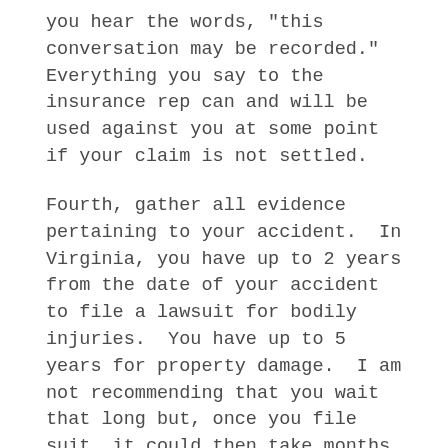you hear the words, "this conversation may be recorded."  Everything you say to the insurance rep can and will be used against you at some point if your claim is not settled.
Fourth, gather all evidence pertaining to your accident.  In Virginia, you have up to 2 years from the date of your accident to file a lawsuit for bodily injuries.  You have up to 5 years for property damage.  I am not recommending that you wait that long but, once you file suit, it could then take months, even years to have your case heard in a court of law.  Therefore, preserve your evidence.  Take pictures of your vehicle now, before it is repaired.  Take pictures of the scene, including skid marks and damages to guardrails, signs